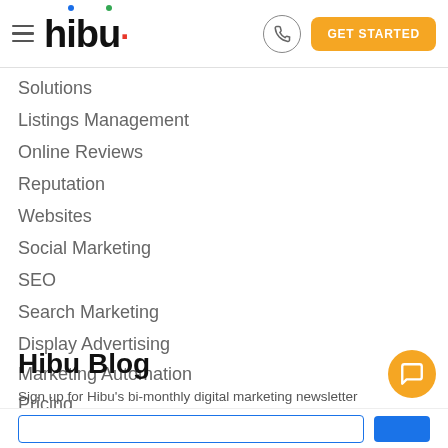hibu — GET STARTED
Solutions
Listings Management
Online Reviews
Reputation
Websites
Social Marketing
SEO
Search Marketing
Display Advertising
Marketing Automation
Pricing
Hibu Blog
Sign up for Hibu's bi-monthly digital marketing newsletter